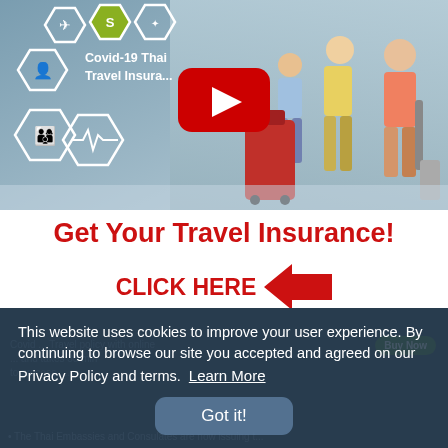[Figure (screenshot): YouTube video thumbnail showing a family walking in an airport with luggage, overlaid with insurance-related hexagon icons and the text 'Covid-19 Thai Travel Insurance'. A YouTube play button is centered on the image.]
Get Your Travel Insurance!
CLICK HERE →
This website uses cookies to improve your user experience. By continuing to browse our site you accepted and agreed on our Privacy Policy and terms.  Learn More
Got it!
The Thai Embassies and Consulates are now issuing...